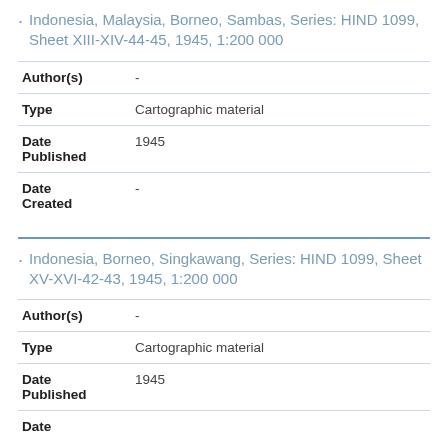Indonesia, Malaysia, Borneo, Sambas, Series: HIND 1099, Sheet XIII-XIV-44-45, 1945, 1:200 000
| Field | Value |
| --- | --- |
| Author(s) | - |
| Type | Cartographic material |
| Date Published | 1945 |
| Date Created | - |
Indonesia, Borneo, Singkawang, Series: HIND 1099, Sheet XV-XVI-42-43, 1945, 1:200 000
| Field | Value |
| --- | --- |
| Author(s) | - |
| Type | Cartographic material |
| Date Published | 1945 |
| Date |  |